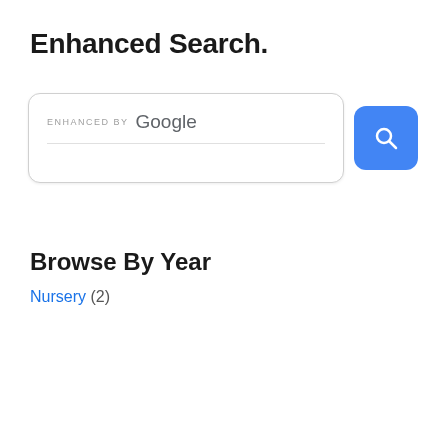Enhanced Search.
[Figure (screenshot): Google Enhanced Search widget with a white rounded search box showing 'ENHANCED BY Google' text and a blue search button with magnifying glass icon]
Browse By Year
Nursery (2)